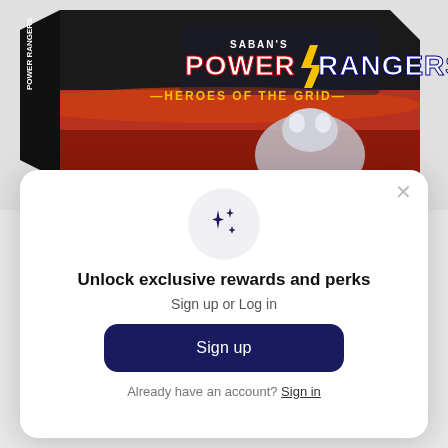[Figure (photo): Power Rangers Heroes of the Grid board game box, showing the branded packaging with Saban's Power Rangers logo, 'HEROES OF THE GRID' title, dark background with red/orange stripe, and a metallic robot/mecha figure.]
Unlock exclusive rewards and perks
Sign up or Log in
Sign up
Already have an account? Sign in